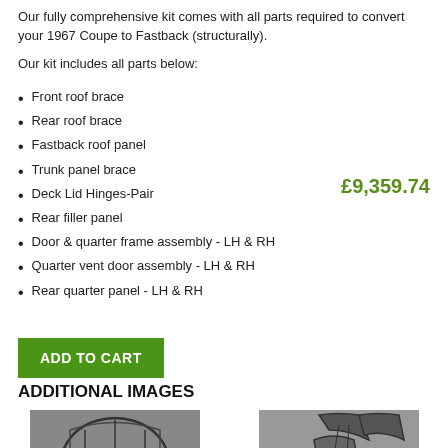Our fully comprehensive kit comes with all parts required to convert your 1967 Coupe to Fastback (structurally).
Our kit includes all parts below:
Front roof brace
Rear roof brace
Fastback roof panel
Trunk panel brace
Deck Lid Hinges-Pair
Rear filler panel
Door & quarter frame assembly - LH & RH
Quarter vent door assembly - LH & RH
Rear quarter panel - LH & RH
£9,359.74
ADD TO CART
ADDITIONAL IMAGES
[Figure (photo): Car roof frame structure assembly]
[Figure (photo): Metal bracket or hinge components]